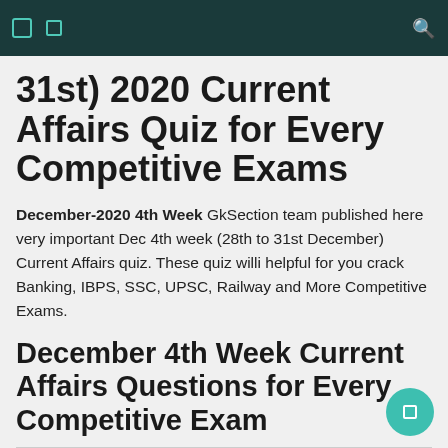Navigation bar with icons and search
31st) 2020 Current Affairs Quiz for Every Competitive Exams
December-2020 4th Week GkSection team published here very important Dec 4th week (28th to 31st December) Current Affairs quiz. These quiz willi helpful for you crack Banking, IBPS, SSC, UPSC, Railway and More Competitive Exams.
December 4th Week Current Affairs Questions for Every Competitive Exam